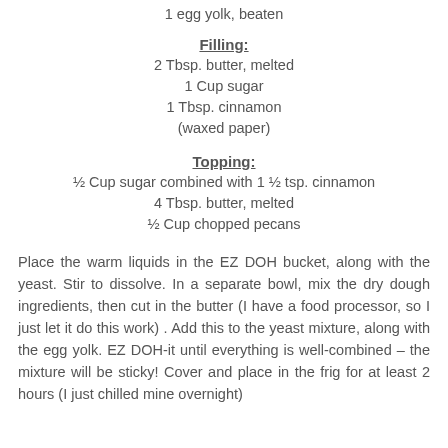1 egg yolk, beaten
Filling:
2 Tbsp. butter, melted
1 Cup sugar
1 Tbsp. cinnamon
(waxed paper)
Topping:
½ Cup sugar combined with 1 ½ tsp. cinnamon
4 Tbsp. butter, melted
½ Cup chopped pecans
Place the warm liquids in the EZ DOH bucket, along with the yeast. Stir to dissolve. In a separate bowl, mix the dry dough ingredients, then cut in the butter (I have a food processor, so I just let it do this work) . Add this to the yeast mixture, along with the egg yolk. EZ DOH-it until everything is well-combined – the mixture will be sticky! Cover and place in the frig for at least 2 hours (I just chilled mine overnight)